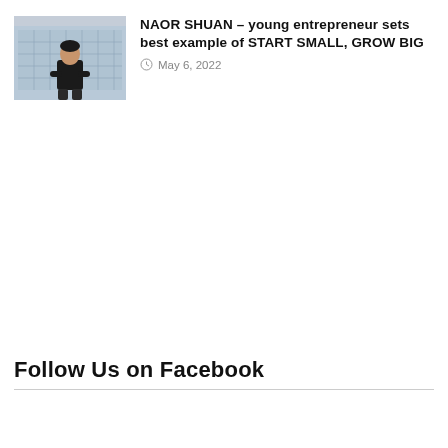[Figure (photo): Photo of a young man in a black t-shirt standing in front of a modern glass building]
NAOR SHUAN – young entrepreneur sets best example of START SMALL, GROW BIG
May 6, 2022
Follow Us on Facebook